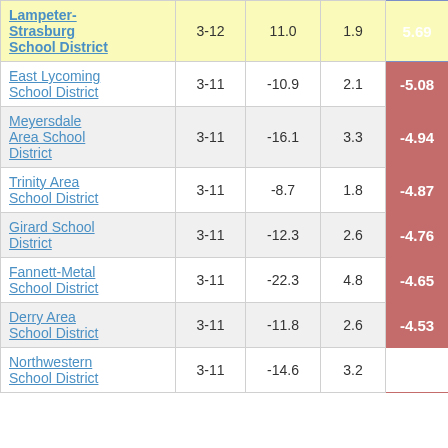| School District | Grades | Col3 | Col4 | Score |
| --- | --- | --- | --- | --- |
| Lampeter-Strasburg School District | 3-12 | 11.0 | 1.9 | 5.69 |
| East Lycoming School District | 3-11 | -10.9 | 2.1 | -5.08 |
| Meyersdale Area School District | 3-11 | -16.1 | 3.3 | -4.94 |
| Trinity Area School District | 3-11 | -8.7 | 1.8 | -4.87 |
| Girard School District | 3-11 | -12.3 | 2.6 | -4.76 |
| Fannett-Metal School District | 3-11 | -22.3 | 4.8 | -4.65 |
| Derry Area School District | 3-11 | -11.8 | 2.6 | -4.53 |
| Northwestern School District | 3-11 | -14.6 | 3.2 | -4.51 |